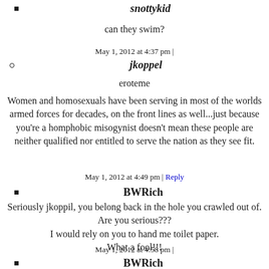snottykid
can they swim?
May 1, 2012 at 4:37 pm | jkoppel
jkoppel
eroteme
Women and homosexuals have been serving in most of the worlds armed forces for decades, on the front lines as well...just because you're a homphobic misogynist doesn't mean these people are neither qualified nor entitled to serve the nation as they see fit.
May 1, 2012 at 4:49 pm | Reply
BWRich
Seriously jkoppil, you belong back in the hole you crawled out of. Are you serious???
I would rely on you to hand me toilet paper.
What a fool!!!
May 1, 2012 at 4:58 pm |
BWRich